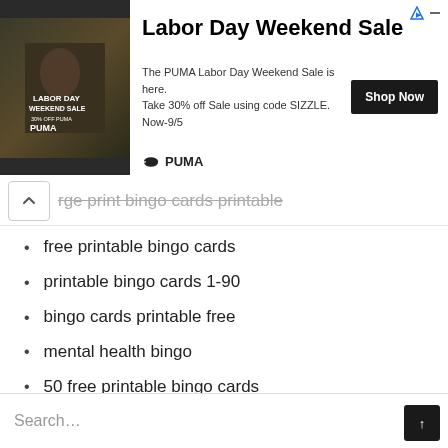[Figure (other): PUMA Labor Day Weekend Sale advertisement banner with dark background image showing athletes, bold title 'Labor Day Weekend Sale', body text, Shop Now button, and PUMA logo]
rge print bingo cards printable
free printable bingo cards
printable bingo cards 1-90
bingo cards printable free
mental health bingo
50 free printable bingo cards
hard word search printable
large print word search printable
free printable bingo cards 75